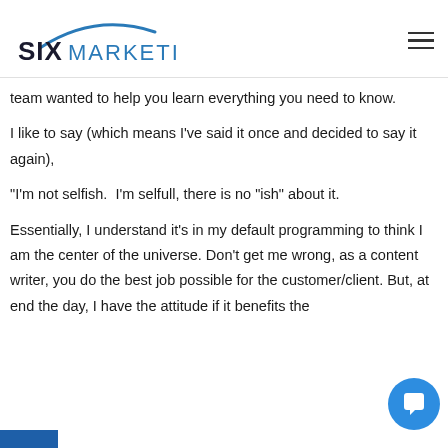SIX MARKETING
team wanted to help you learn everything you need to know.
I like to say (which means I've said it once and decided to say it again),
“I'm not selfish.  I'm selfull, there is no “ish” about it.
Essentially, I understand it’s in my default programming to think I am the center of the universe. Don’t get me wrong, as a content writer, you do the best job possible for the customer/client. But, at end the day, I have the attitude if it benefits the